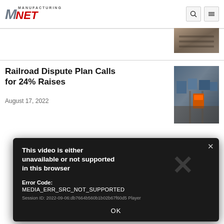Manufacturing.NET
[Figure (photo): Aerial photo of rail yard or construction site, muted brown tones]
Railroad Dispute Plan Calls for 24% Raises
August 17, 2022
[Figure (photo): Aerial view of railroad yard with orange/red locomotive visible]
[Figure (screenshot): Video player error dialog on dark background reading: This video is either unavailable or not supported in this browser. Error Code: MEDIA_ERR_SRC_NOT_SUPPORTED. Session ID: 2022-09-06:db7664b560b1b02b67f60d5 Player. OK button.]